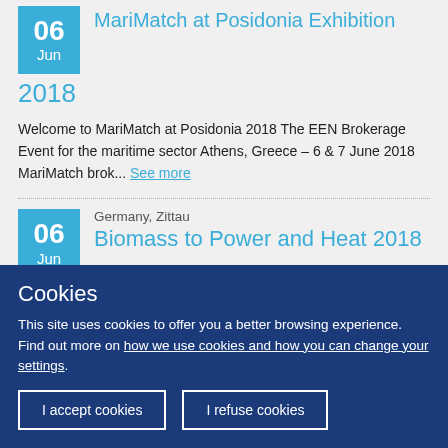MariMatch at Posidonia Exhibition 2018
Welcome to MariMatch at Posidonia 2018 The EEN Brokerage Event for the maritime sector Athens, Greece – 6 & 7 June 2018 MariMatch brok... See more
Germany, Zittau
Biomass to Power and Heat 2018
Cookies
This site uses cookies to offer you a better browsing experience. Find out more on how we use cookies and how you can change your settings.
I accept cookies
I refuse cookies